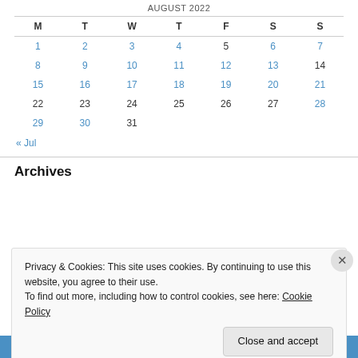| M | T | W | T | F | S | S |
| --- | --- | --- | --- | --- | --- | --- |
| 1 | 2 | 3 | 4 | 5 | 6 | 7 |
| 8 | 9 | 10 | 11 | 12 | 13 | 14 |
| 15 | 16 | 17 | 18 | 19 | 20 | 21 |
| 22 | 23 | 24 | 25 | 26 | 27 | 28 |
| 29 | 30 | 31 |  |  |  |  |
« Jul
Archives
Privacy & Cookies: This site uses cookies. By continuing to use this website, you agree to their use.
To find out more, including how to control cookies, see here: Cookie Policy
Close and accept